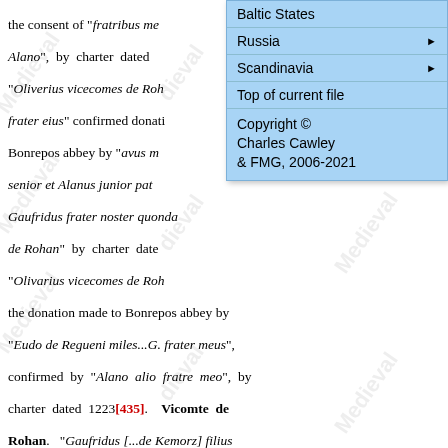[Figure (screenshot): Dropdown navigation menu overlay with light blue background, showing items: Baltic States, Russia (with arrow), Scandinavia (with arrow), Top of current file, and Copyright Charles Cawley & FMG, 2006-2021]
the consent of "fratribus me...Alano", by charter dated... "Oliverius vicecomes de Roh...frater eius" confirmed donatio...Bonrepos abbey by "avus m...senior et Alanus junior pat...Gaufridus frater noster quonda...de Rohan" by charter date..."Olivarius vicecomes de Roh...the donation made to Bonrepos abbey by "Eudo de Regueni miles...G. frater meus", confirmed by "Alano alio fratre meo", by charter dated 1223[435]. Vicomte de Rohan. "Gaufridus [...de Kemorz] filius Oliverii miles" and "dominum Alanum vicecomitem de Rohan militem" reached agreement regarding services by charter dated 1228[436]. "Petrus dux Britanniæ.comes Richemundiæ" guaranteed that, if "A. vicecomes de Rohan" lost land and revenues in England, he would be granted an equivalent amount in Brittany by charter dated Jun 1230[437]. m ELEONORE de Porhoët Dame de La Chèze, daughter of EUDES [III] Comte de Porhoët & his first wife --- (-after 24 Jun 1251). She married secondly as his second wife, Pierre de Chemillé. "Alienor vicecomitissa de Rohan"